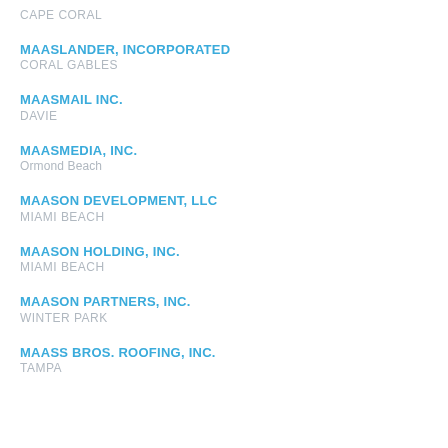CAPE CORAL
MAASLANDER, INCORPORATED
CORAL GABLES
MAASMAIL INC.
DAVIE
MAASMEDIA, INC.
Ormond Beach
MAASON DEVELOPMENT, LLC
MIAMI BEACH
MAASON HOLDING, INC.
MIAMI BEACH
MAASON PARTNERS, INC.
WINTER PARK
MAASS BROS. ROOFING, INC.
TAMPA